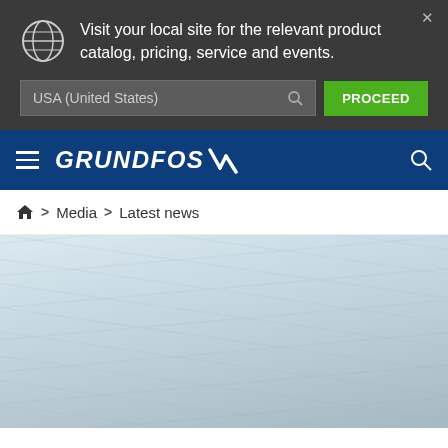Visit your local site for the relevant product catalog, pricing, service and events.
USA (United States)
PROCEED
[Figure (logo): Grundfos logo with brand mark on dark blue navigation bar]
Home > Media > Latest news
[Figure (photo): Light blue/grey snowy or icy landscape background image]